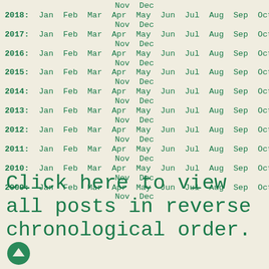Nov Dec (partial top, clipped)
2018: Jan Feb Mar Apr May Jun Jul Aug Sep Oct Nov Dec
2017: Jan Feb Mar Apr May Jun Jul Aug Sep Oct Nov Dec
2016: Jan Feb Mar Apr May Jun Jul Aug Sep Oct Nov Dec
2015: Jan Feb Mar Apr May Jun Jul Aug Sep Oct Nov Dec
2014: Jan Feb Mar Apr May Jun Jul Aug Sep Oct Nov Dec
2013: Jan Feb Mar Apr May Jun Jul Aug Sep Oct Nov Dec
2012: Jan Feb Mar Apr May Jun Jul Aug Sep Oct Nov Dec
2011: Jan Feb Mar Apr May Jun Jul Aug Sep Oct Nov Dec
2010: Jan Feb Mar Apr May Jun Jul Aug Sep Oct Nov Dec
2009: Jan Feb Mar Apr May Jun Jul Aug Sep Oct Nov Dec
Click here to view all posts in reverse chronological order.